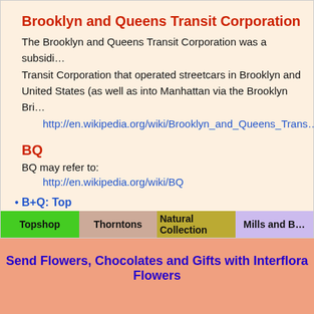Brooklyn and Queens Transit Corporation
The Brooklyn and Queens Transit Corporation was a subsidiary of the Brooklyn and Queens Transit Corporation that operated streetcars in Brooklyn and United States (as well as into Manhattan via the Brooklyn Bri…
http://en.wikipedia.org/wiki/Brooklyn_and_Queens_Trans…
BQ
BQ may refer to:
http://en.wikipedia.org/wiki/BQ
B+Q: Top
[Figure (infographic): Navigation bar with four colored sections: Topshop (green), Thorntons (tan/pink), Natural Collection (olive/yellow), Mills and B… (lavender)]
Send Flowers, Chocolates and Gifts with Interflora Flowers